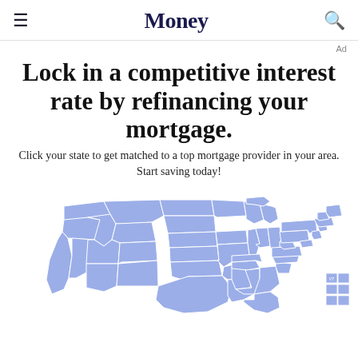Money
Ad
Lock in a competitive interest rate by refinancing your mortgage.
Click your state to get matched to a top mortgage provider in your area. Start saving today!
[Figure (map): Interactive clickable map of the United States showing states in light blue/periwinkle, used to match users to mortgage providers by state. Partial view showing the continental US with small state boxes in the lower right for northeastern states.]